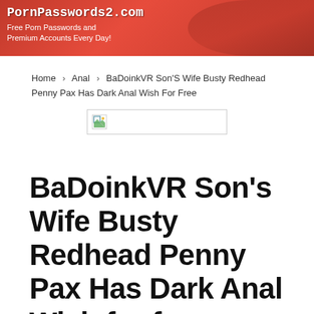[Figure (photo): Banner image with red background showing PornPasswords2.com website header with text 'Free Porn Passwords and Premium Accounts Every Day!']
Home > Anal > BaDoinkVR Son's Wife Busty Redhead Penny Pax Has Dark Anal Wish For Free
[Figure (other): Broken image placeholder icon]
BaDoinkVR Son's Wife Busty Redhead Penny Pax Has Dark Anal Wish for free